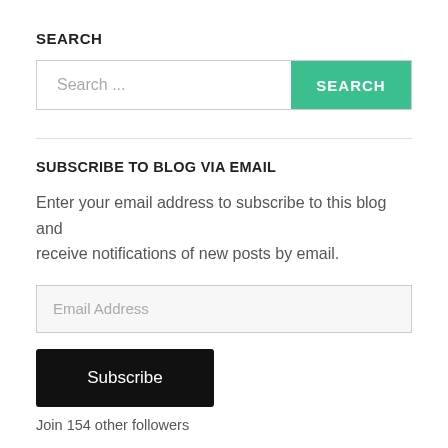SEARCH
Search ...
SEARCH
SUBSCRIBE TO BLOG VIA EMAIL
Enter your email address to subscribe to this blog and receive notifications of new posts by email.
Email Address
Subscribe
Join 154 other followers